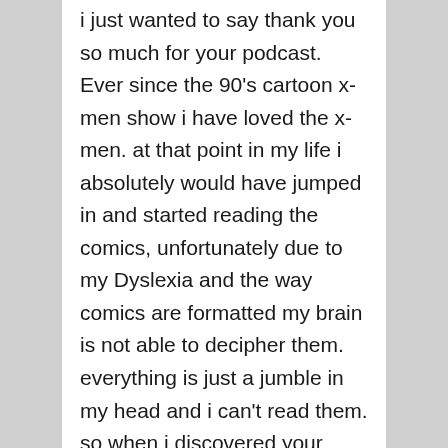i just wanted to say thank you so much for your podcast. Ever since the 90's cartoon x-men show i have loved the x-men. at that point in my life i absolutely would have jumped in and started reading the comics, unfortunately due to my Dyslexia and the way comics are formatted my brain is not able to decipher them. everything is just a jumble in my head and i can't read them. so when i discovered your podcast summer 2015 i was so excited. i started on episode 1 and just binge it. i had you guys playing when ever i was out of the house, which was a lot. I would even put you on when it was slow at work. i quickly caught up and get excited every time a new episode appears on my phone. you guys are my window into the the world of x-men and i can't